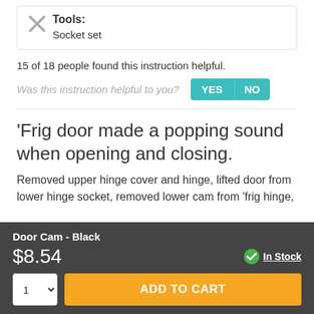Tools: Socket set
15 of 18 people found this instruction helpful.
Was this instruction helpful to you?
'Frig door made a popping sound when opening and closing.
Removed upper hinge cover and hinge, lifted door from lower hinge socket, removed lower cam from 'frig hinge,
Door Cam - Black
$8.54
In Stock
ADD TO CART